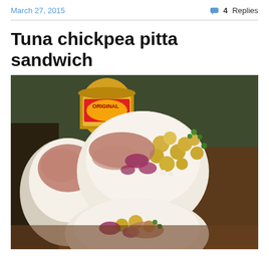March 27, 2015    💬 4 Replies
Tuna chickpea pitta sandwich
[Figure (photo): Close-up photo of tuna chickpea pitta sandwiches showing pita bread stuffed with tuna, chickpeas, red onion, and green vegetables, with a condiment jar visible in the background.]